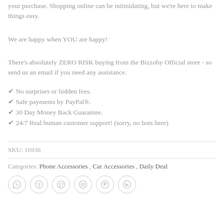your purchase. Shopping online can be intimidating, but we're here to make things easy.
We are happy when YOU are happy!
There's absolutely ZERO RISK buying from the Bizzoby Official store - so send us an email if you need any assistance.
✔ No surprises or hidden fees.
✔ Safe payments by PayPal®.
✔ 30 Day Money Back Guarantee.
✔ 24/7 Real human customer support! (sorry, no bots here)
SKU: 16936
Categories: Phone Accessories, Car Accessories, Daily Deal
[Figure (other): Row of six social media share icons (WhatsApp, Facebook, Twitter, Email, Pinterest, LinkedIn) as circular outlined buttons]